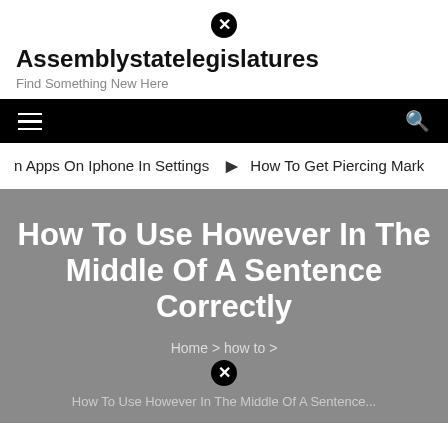Assemblystatelegislatures – Find Something New Here
How To Use However In The Middle Of A Sentence Correctly
n Apps On Iphone In Settings  ⊙  How To Get Piercing Mark
Home > how to > How To Use However In The Middle Of A Sentence